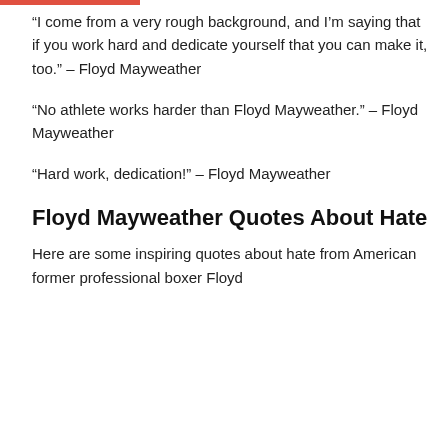“I come from a very rough background, and I’m saying that if you work hard and dedicate yourself that you can make it, too.” – Floyd Mayweather
“No athlete works harder than Floyd Mayweather.” – Floyd Mayweather
“Hard work, dedication!” – Floyd Mayweather
Floyd Mayweather Quotes About Hate
Here are some inspiring quotes about hate from American former professional boxer Floyd